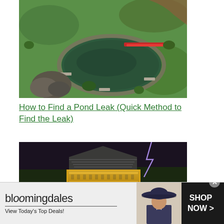[Figure (photo): Aerial view of a garden pond with stone edging, surrounding green lawn, red flowers, benches, and rock features]
How to Find a Pond Leak (Quick Method to Find the Leak)
[Figure (photo): Dark dramatic image of an ornate golden pagoda rooftop with lightning in the background]
[Figure (other): Bloomingdale's advertisement banner: 'bloomingdales / View Today's Top Deals! / SHOP NOW >' with woman in wide-brim hat]